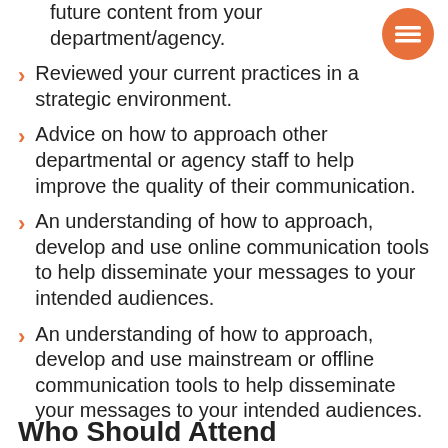future content from your department/agency.
Reviewed your current practices in a strategic environment.
Advice on how to approach other departmental or agency staff to help improve the quality of their communication.
An understanding of how to approach, develop and use online communication tools to help disseminate your messages to your intended audiences.
An understanding of how to approach, develop and use mainstream or offline communication tools to help disseminate your messages to your intended audiences.
Who Should Attend